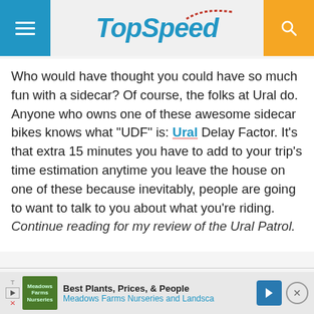TopSpeed
Who would have thought you could have so much fun with a sidecar? Of course, the folks at Ural do. Anyone who owns one of these awesome sidecar bikes knows what "UDF" is: Ural Delay Factor. It’s that extra 15 minutes you have to add to your trip’s time estimation anytime you leave the house on one of these because inevitably, people are going to want to talk to you about what you’re riding.
Continue reading for my review of the Ural Patrol.
[Figure (screenshot): Advertisement banner for Meadows Farms Nurseries and Landscape showing 'Best Plants, Prices, & People' with a navigation arrow icon and close button]